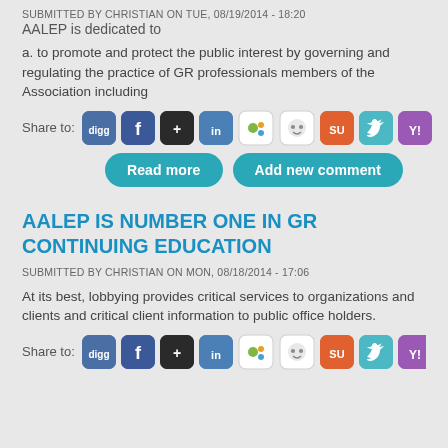SUBMITTED BY CHRISTIAN ON TUE, 08/19/2014 - 18:20
AALEP is dedicated to
a. to promote and protect the public interest by governing and regulating the practice of GR professionals members of the Association including
[Figure (infographic): Share to: social media icon buttons for digg, facebook, google+, linkedin, mixx, reddit, stumbleupon, twitter, yahoo]
[Figure (infographic): Read more and Add new comment teal rounded buttons]
AALEP IS NUMBER ONE IN GR CONTINUING EDUCATION
SUBMITTED BY CHRISTIAN ON MON, 08/18/2014 - 17:06
At its best, lobbying provides critical services to organizations and clients and critical client information to public office holders.
[Figure (infographic): Share to: social media icon buttons for digg, facebook, google+, linkedin, mixx, reddit, stumbleupon, twitter, yahoo (partially visible)]